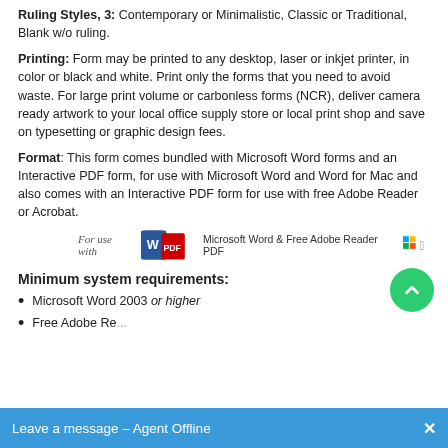Ruling Styles, 3: Contemporary or Minimalistic, Classic or Traditional, Blank w/o ruling.
Printing: Form may be printed to any desktop, laser or inkjet printer, in color or black and white. Print only the forms that you need to avoid waste. For large print volume or carbonless forms (NCR), deliver camera ready artwork to your local office supply store or local print shop and save on typesetting or graphic design fees.
Format: This form comes bundled with Microsoft Word forms and an Interactive PDF form, for use with Microsoft Word and Word for Mac and also comes with an Interactive PDF form for use with free Adobe Reader or Acrobat.
[Figure (logo): For use with Microsoft Word & Free Adobe Reader PDF logo with Word and PDF icons, Windows and Mac icons]
Minimum system requirements:
Microsoft Word 2003 or higher
Free Adobe Re...